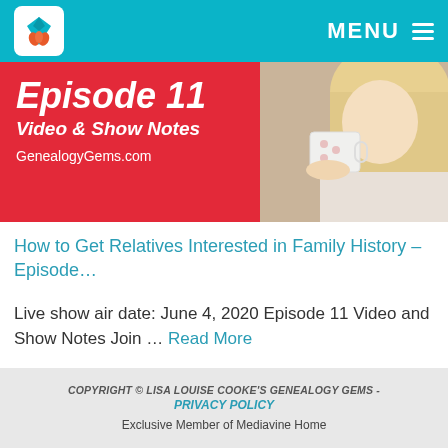MENU
[Figure (screenshot): Hero banner with red background showing 'Episode 11 Video & Show Notes GenealgyGems.com' in white italic bold text on the left, and a photo of a blonde woman holding a mug on the right]
How to Get Relatives Interested in Family History – Episode…
Live show air date: June 4, 2020 Episode 11 Video and Show Notes Join … Read More
COPYRIGHT © LISA LOUISE COOKE'S GENEALOGY GEMS - PRIVACY POLICY
Exclusive Member of Mediavine Home